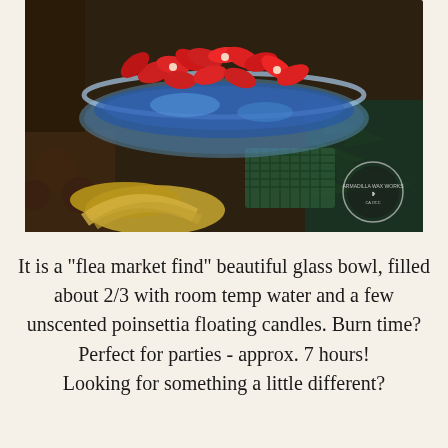[Figure (photo): A glass bowl filled with red poinsettia floating candles and blue decorative elements, surrounded by gold ribbon, star anise, and pine greenery. A circular logo watermark (Armadilla Wax Works) is visible in the lower right corner of the photo.]
It is a "flea market find" beautiful glass bowl, filled about 2/3 with room temp water and a few unscented poinsettia floating candles. Burn time? Perfect for parties - approx. 7 hours! Looking for something a little different?